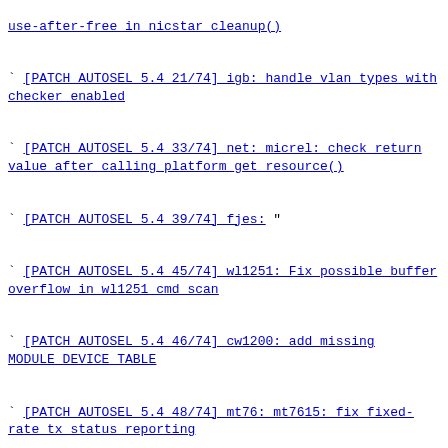[PATCH AUTOSEL 5.4 21/74] igb: handle vlan types with checker enabled
[PATCH AUTOSEL 5.4 33/74] net: micrel: check return value after calling platform_get_resource()
[PATCH AUTOSEL 5.4 39/74] fjes: "
[PATCH AUTOSEL 5.4 45/74] wl1251: Fix possible buffer overflow in wl1251 cmd scan
[PATCH AUTOSEL 5.4 46/74] cw1200: add missing MODULE DEVICE TABLE
[PATCH AUTOSEL 5.4 48/74] mt76: mt7615: fix fixed-rate tx status reporting
[PATCH AUTOSEL 5.4 52/74] rtl8xxxu: Fix device info for RTL8192EU devices
[PATCH AUTOSEL 5.4 54/74] atm: nicstar: use 'dma free coherent' instead of 'kfree'
[PATCH AUTOSEL 5.4 55/74] atm: nicstar: register the interrupt handler in the right place
[PATCH AUTOSEL 5.4 58/74] iwlwifi: mvm: don't change band on bound PHY contexts
page: next (older) | prev (newer) | latest
This is a public inbox, see mirroring instructions
for how to clone and mirror all data and code used for this inbox;
as well as URLs for NNTP newsgroup(s).